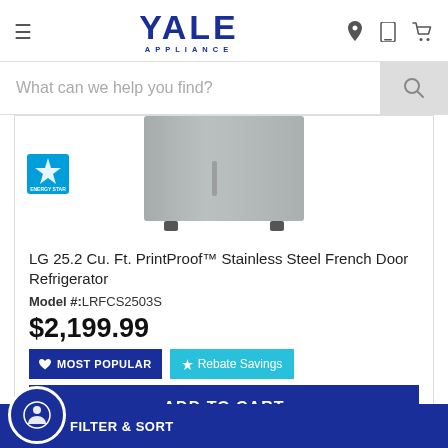[Figure (logo): Yale Appliance logo with hamburger menu and header icons (location, mobile, cart)]
What can we help you find?
[Figure (photo): LG stainless steel French door refrigerator bottom portion with Energy Star badge]
LG 25.2 Cu. Ft. PrintProof™ Stainless Steel French Door Refrigerator
Model #: LRFCS2503S
$2,199.99
MOST POPULAR
Rebate Savings
ADD TO CART
Compare
FILTER & SORT